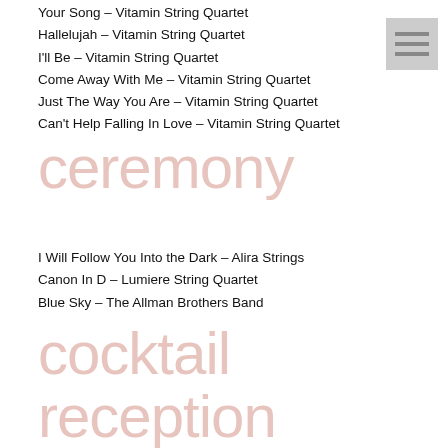Your Song – Vitamin String Quartet
Hallelujah – Vitamin String Quartet
I'll Be – Vitamin String Quartet
Come Away With Me – Vitamin String Quartet
Just The Way You Are – Vitamin String Quartet
Can't Help Falling In Love – Vitamin String Quartet
ceremony
I Will Follow You Into the Dark – Alira Strings
Canon In D – Lumiere String Quartet
Blue Sky – The Allman Brothers Band
cocktail reception